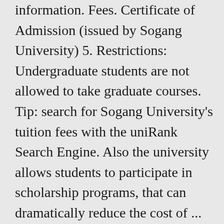information. Fees. Certificate of Admission (issued by Sogang University) 5. Restrictions: Undergraduate students are not allowed to take graduate courses. Tip: search for Sogang University's tuition fees with the uniRank Search Engine. Also the university allows students to participate in scholarship programs, that can dramatically reduce the cost of ... Korea University Is quite remarkable as it is among the best world universities. Full admission support for students. Read the Sogang University profile to get information on Course fee, Application fee, eligibility criteria, Global rank and more It takes 14 minutes to walk to Sogang University. Doctor of Oriental Philosophy, Dongguk University, 2011 Bachelor